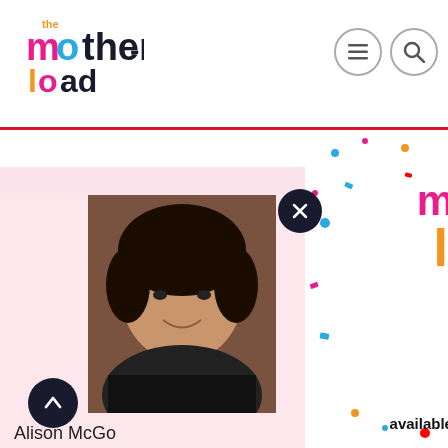the motherload - website header with logo and hamburger/search icons
[Figure (screenshot): The Motherload website screenshot showing header logo, navigation icons, author profile card for Alison McGo... with photo, and newsletter popup overlay with the motherload logo and 'available now on Substack' text with colorful confetti background]
Alison McGo
Alison McGo edits stuff fo a radio proc
available now on Substack
newsletter